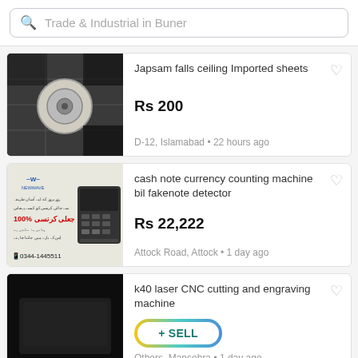Trade & Industrial in Buner
[Figure (photo): Gypsum/plaster ceiling tiles and a round fan/pulley, dark background]
Japsam falls ceiling Imported sheets
Rs 200
D-12, Islamabad • 22 hours ago
[Figure (photo): Currency counting machine advertisement with Urdu text and phone number 0344-1445511]
cash note currency counting machine bil fakenote detector
Rs 22,222
Attock Road, Attock • 1 day ago
[Figure (photo): Dark image for k40 laser CNC cutting and engraving machine listing]
k40 laser CNC cutting and engraving machine
+ SELL
Others, Mansehra • 1 day ago